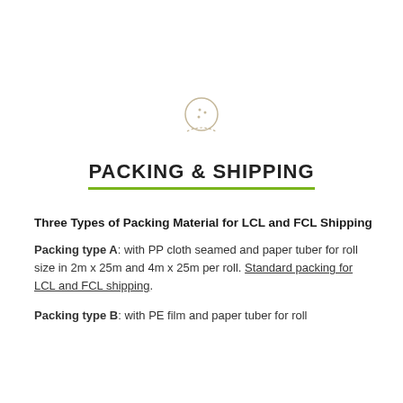[Figure (illustration): A circular icon resembling a ball (like a cricket ball or similar sports ball) with small dots inside, and a dashed/dotted semicircle arc below it, centered on the page.]
PACKING & SHIPPING
Three Types of Packing Material for LCL and FCL Shipping
Packing type A: with PP cloth seamed and paper tuber for roll size in 2m x 25m and 4m x 25m per roll. Standard packing for LCL and FCL shipping.
Packing type B: with PE film and paper tuber for roll